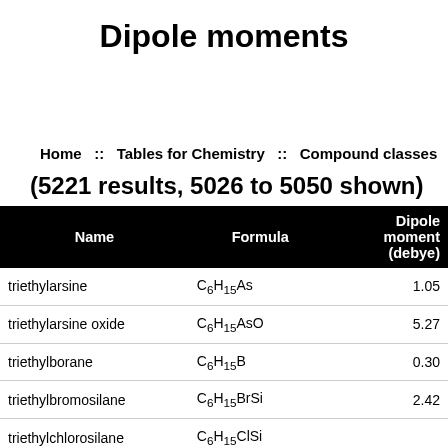Dipole moments
Home :: Tables for Chemistry :: Compound classes
(5221 results, 5026 to 5050 shown)
| Name | Formula | Dipole moment (debye) |
| --- | --- | --- |
| triethylarsine | C6H15As | 1.05 |
| triethylarsine oxide | C6H15AsO | 5.27 |
| triethylborane | C6H15B | 0.30 |
| triethylbromosilane | C6H15BrSi | 2.42 |
| triethylchlorosilane | C6H15ClSi |  |